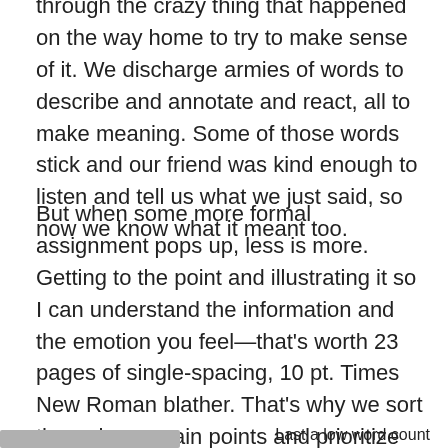through the crazy thing that happened on the way home to try to make sense of it. We discharge armies of words to describe and annotate and react, all to make meaning. Some of those words stick and our friend was kind enough to listen and tell us what we just said, so now we know what it meant too.
But when some more formal assignment pops up, less is more. Getting to the point and illustrating it so I can understand the information and the emotion you feel—that's worth 23 pages of single-spacing, 10 pt. Times New Roman blather. That's why we sort through our main points and prioritize them and then cut them back again. That's why we ask what does my audience know and what do I want them to feel? That's why I create a context they can hear.
Last a low word count